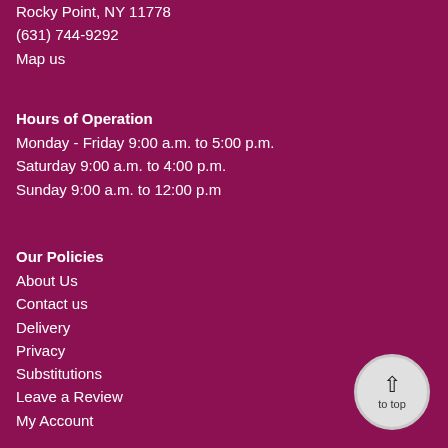Rocky Point, NY 11778
(631) 744-9292
Map us
Hours of Operation
Monday - Friday 9:00 a.m. to 5:00 p.m.
Saturday 9:00 a.m. to 4:00 p.m.
Sunday 9:00 a.m. to 12:00 p.m
Our Policies
About Us
Contact us
Delivery
Privacy
Substitutions
Leave a Review
My Account